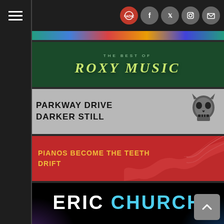[Figure (screenshot): Navigation bar with hamburger menu, radio logo, and social media icons (Facebook, Twitter, Instagram, Mail)]
[Figure (photo): Cropped colorful album art strip at top]
[Figure (photo): The Best of Roxy Music album banner with green/yellow stylized text on dark green background]
[Figure (photo): Parkway Drive - Darker Still album banner with gray background and skull artwork]
[Figure (photo): Pianos Become the Teeth - Drift album banner with red background and yellow text]
[Figure (photo): Eric Church album banner with black background, white and cyan text, smoke/fog effect]
[Figure (photo): Partial bottom album art with purple and blue smoke/fog colors]